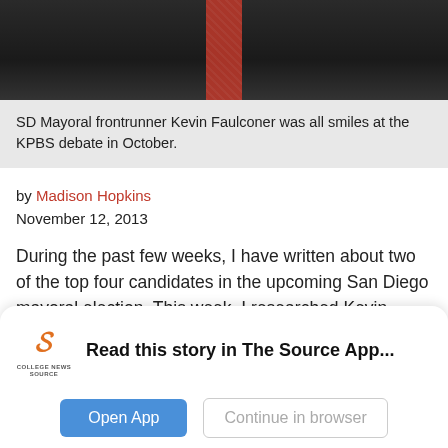[Figure (photo): Photo of SD Mayoral frontrunner Kevin Faulconer in a dark suit with red tie, cropped to show torso and lower face]
SD Mayoral frontrunner Kevin Faulconer was all smiles at the KPBS debate in October.
by Madison Hopkins
November 12, 2013
During the past few weeks, I have written about two of the top four candidates in the upcoming San Diego mayoral election. This week, I researched Kevin Faulconer to learn enough about him to write an educated opinion about his candidacy and potential
[Figure (screenshot): App banner overlay: College News Source logo with text 'Read this story in The Source App...' and buttons 'Open App' and 'Continue in browser']